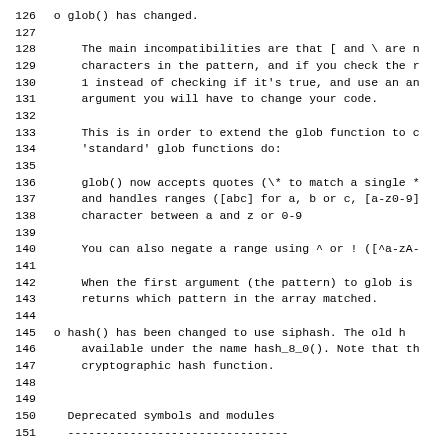126   o glob() has changed.
127
128       The main incompatibilities are that [ and \ are n
129       characters in the pattern, and if you check the r
130       1 instead of checking if it's true, and use an ar
131       argument you will have to change your code.
132
133       This is in order to extend the glob function to c
134       'standard' glob functions do:
135
136       glob() now accepts quotes (\* to match a single *
137       and handles ranges ([abc] for a, b or c, [a-z0-9]
138       character between a and z or 0-9
139
140       You can also negate a range using ^ or ! ([^a-zA-
141
142       When the first argument (the pattern) to glob is
143       returns which pattern in the array matched.
144
145   o hash() has been changed to use siphash. The old h
146       available under the name hash_8_0(). Note that th
147       cryptographic hash function.
148
149
150     Deprecated symbols and modules
151     --------------------------------